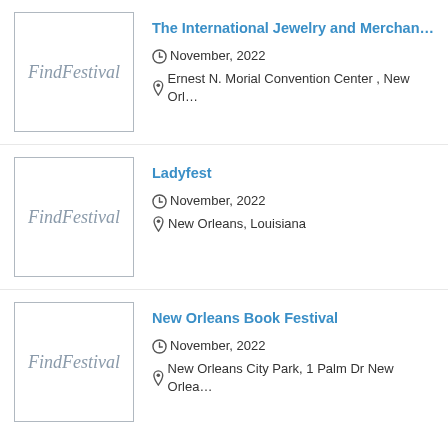[Figure (logo): FindFestival logo placeholder image with italic script text]
The International Jewelry and Merchan...
November, 2022
Ernest N. Morial Convention Center , New Orl...
[Figure (logo): FindFestival logo placeholder image with italic script text]
Ladyfest
November, 2022
New Orleans, Louisiana
[Figure (logo): FindFestival logo placeholder image with italic script text]
New Orleans Book Festival
November, 2022
New Orleans City Park, 1 Palm Dr New Orlea...